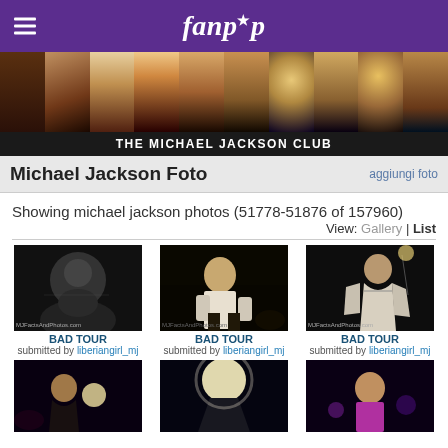fanpop
[Figure (photo): Banner strip showing multiple photos of Michael Jackson across different eras]
THE MICHAEL JACKSON CLUB
Michael Jackson Foto
aggiungi foto
Showing michael jackson photos (51778-51876 of 157960)
View: Gallery | List
[Figure (photo): Black and white photo of Michael Jackson performing - Bad Tour, submitted by liberiangirl_mj]
[Figure (photo): Color photo of Michael Jackson in white outfit performing - Bad Tour, submitted by liberiangirl_mj]
[Figure (photo): Michael Jackson with arm raised wearing striped jacket - Bad Tour, submitted by liberiangirl_mj]
[Figure (photo): Michael Jackson performing on stage - partial view]
[Figure (photo): Michael Jackson with bright light on stage - partial view]
[Figure (photo): Michael Jackson in purple/pink lighting on stage - partial view]